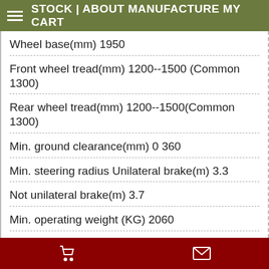STOCK | ABOUT MANUFACTURE MY CART
Wheel base(mm) 1950
Front wheel tread(mm) 1200--1500 (Common 1300)
Rear wheel tread(mm) 1200--1500(Common 1300)
Min. ground clearance(mm) 0 360
Min. steering radius Unilateral brake(m) 3.3
Not unilateral brake(m) 3.7
Min. operating weight (KG) 2060
Gearbox gears number 12F+12R
Speed Forward(Kw/h) 2.46-34.02
Reverse(Kw/h) 2.15-29.82
Engine Model A4K41T55-002
Shopping cart | Message icons